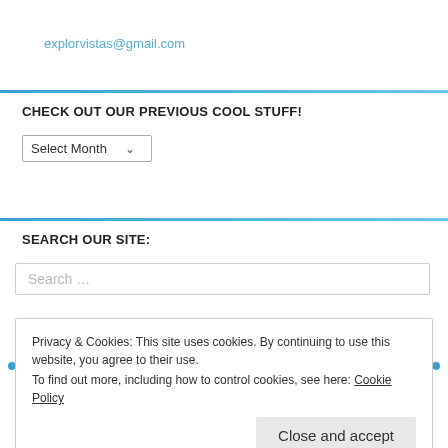explorvistas@gmail.com
CHECK OUT OUR PREVIOUS COOL STUFF!
[Figure (screenshot): Dropdown select element labeled 'Select Month' with a chevron arrow on the right]
SEARCH OUR SITE:
Search …
Privacy & Cookies: This site uses cookies. By continuing to use this website, you agree to their use.
To find out more, including how to control cookies, see here: Cookie Policy
Close and accept
C
T
Ashley Keesling